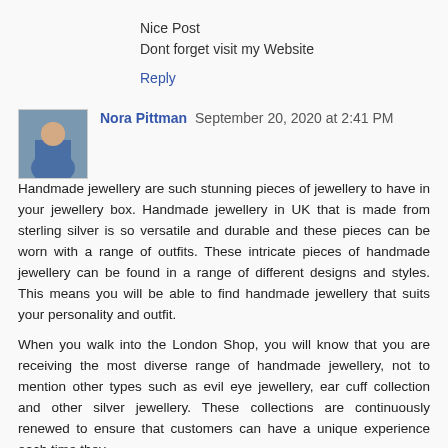Nice Post
Dont forget visit my Website
Reply
Nora Pittman  September 20, 2020 at 2:41 PM
Handmade jewellery are such stunning pieces of jewellery to have in your jewellery box. Handmade jewellery in UK that is made from sterling silver is so versatile and durable and these pieces can be worn with a range of outfits. These intricate pieces of handmade jewellery can be found in a range of different designs and styles. This means you will be able to find handmade jewellery that suits your personality and outfit.
When you walk into the London Shop, you will know that you are receiving the most diverse range of handmade jewellery, not to mention other types such as evil eye jewellery, ear cuff collection and other silver jewellery. These collections are continuously renewed to ensure that customers can have a unique experience each time they